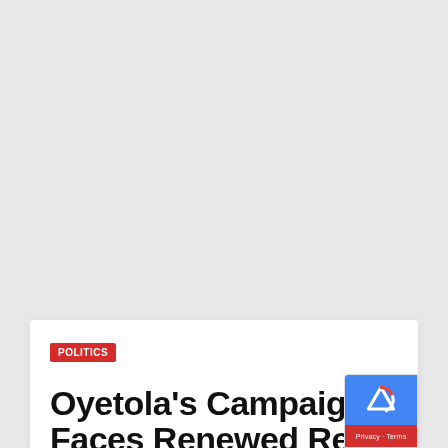[Figure (other): Gray background area representing webpage content above the article card]
POLITICS
Oyetola's Campaign Faces Renewed Re…